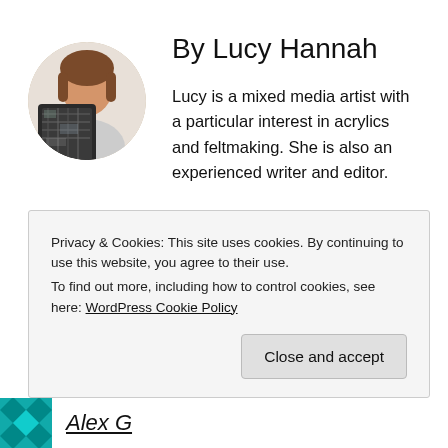[Figure (photo): Circular avatar photo of Lucy Hannah, a woman with brown hair holding a piece of mixed media artwork with dark textured pattern]
By Lucy Hannah
Lucy is a mixed media artist with a particular interest in acrylics and feltmaking. She is also an experienced writer and editor.
View all of Lucy Hannah's posts.
Privacy & Cookies: This site uses cookies. By continuing to use this website, you agree to their use.
To find out more, including how to control cookies, see here: WordPress Cookie Policy
[Figure (photo): Small circular avatar with teal diamond/geometric pattern at bottom left]
Alex G